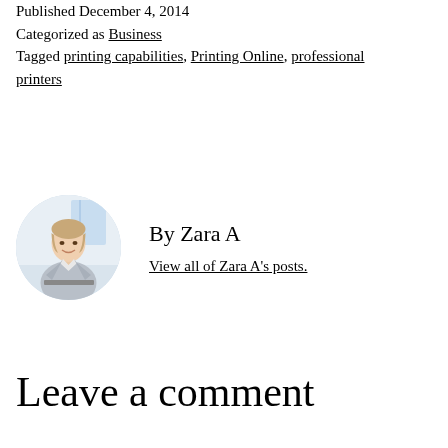Published December 4, 2014
Categorized as Business
Tagged printing capabilities, Printing Online, professional printers
[Figure (photo): Circular portrait photo of a professional woman in a grey blazer, smiling, working at a laptop in a bright office setting]
By Zara A
View all of Zara A's posts.
Leave a comment